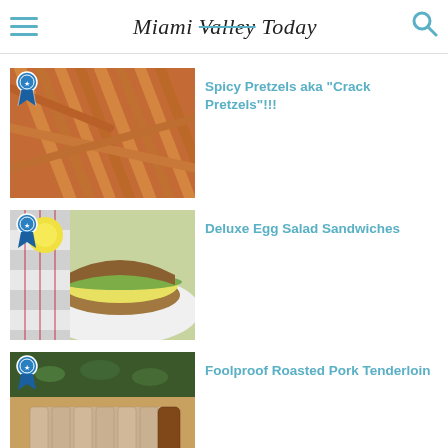Miami Valley Today
[Figure (photo): Close-up of spicy pretzel sticks piled together, golden brown color]
Spicy Pretzels aka "Crack Pretzels"!!!
[Figure (photo): Egg salad sandwich on whole wheat bread with lettuce on a plate, with lemon and checkered cloth in background]
Deluxe Egg Salad Sandwiches
[Figure (photo): Sliced roasted pork tenderloin on a wooden cutting board with herbs]
Foolproof Roasted Pork Tenderloin